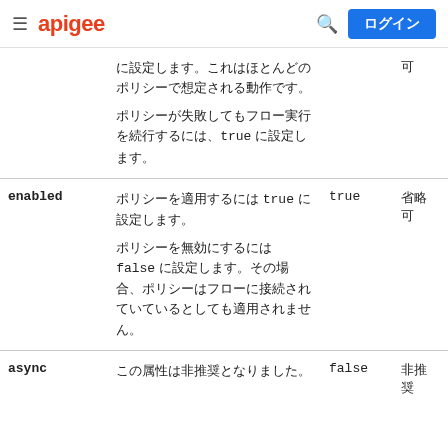apigee  ログイン
| 属性 | 説明 | デフォルト | 必須 |
| --- | --- | --- | --- |
|  | に設定します。これはほとんどのポリシーで想定される動作です。
ポリシーが失敗してもフロー実行を続行するには、true に設定します。 | （省略） | 可 |
| enabled | ポリシーを適用するには true に設定します。
ポリシーを無効にするには false に設定します。その場合、ポリシーはフローに接続されていているとしても適用されません。 | true | 省略可 |
| async | この属性は非推奨となりました。 | false | 非推奨 |